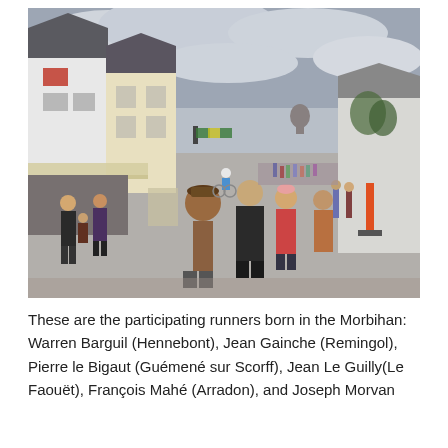[Figure (photo): Street scene showing spectators lining a road in a French town watching cyclists pass during a race. Buildings with shutters and awnings line the left side, trees and a domed building are visible in the background, overcast sky above.]
These are the participating runners born in the Morbihan: Warren Barguil (Hennebont), Jean Gainche (Remingol), Pierre le Bigaut (Guémené sur Scorff), Jean Le Guilly(Le Faouët), François Mahé (Arradon), and Joseph Morvan